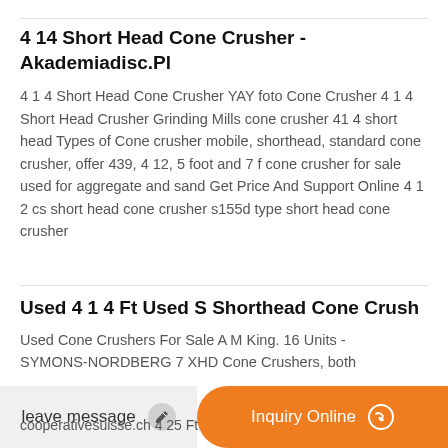4 14 Short Head Cone Crusher - Akademiadisc.Pl
4 1 4 Short Head Cone Crusher YAY foto Cone Crusher 4 1 4 Short Head Crusher Grinding Mills cone crusher 41 4 short head Types of Cone crusher mobile, shorthead, standard cone crusher, offer 439, 4 12, 5 foot and 7 f cone crusher for sale used for aggregate and sand Get Price And Support Online 4 1 2 cs short head cone crusher s155d type short head cone crusher
Used 4 1 4 Ft Used S Shorthead Cone Crush...
Used Cone Crushers For Sale A M King. 16 Units - SYMONS-NORDBERG 7 XHD Cone Crushers, both
cooperativesuisse.ch 4 25 Ft...